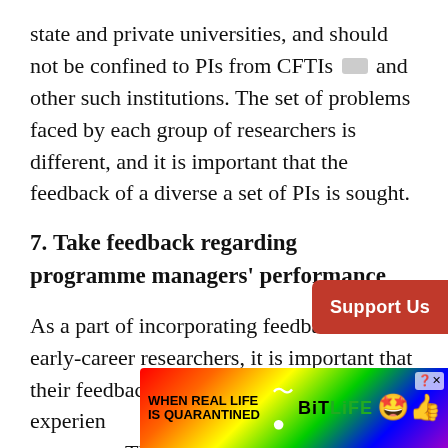state and private universities, and should not be confined to PIs from CFTIs [footnote] and other such institutions. The set of problems faced by each group of researchers is different, and it is important that the feedback of a diverse a set of PIs is sought.
7. Take feedback regarding programme managers' performance
As a part of incorporating feedback from early-career researchers, it is important that their feedback be sought about their experience with their respective programme managers. This is similar to teaching evaluations that faculty members [text partially obscured by ad]
[Figure (other): Red 'Support Us' button overlay on the right side of the page]
[Figure (other): BitLife advertisement banner with rainbow gradient background, 'WHEN REAL LIFE IS QUARANTINED' text, BitLife logo, star-eyes emoji and thumbs-up emoji, with close button]